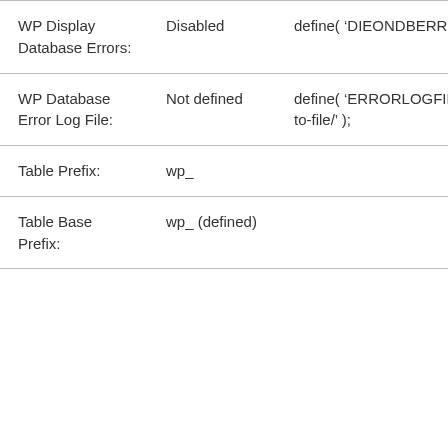| Setting | Value | Code |
| --- | --- | --- |
| WP Display Database Errors: | Disabled | define( 'DIEONDBERROR', true ) |
| WP Database Error Log File: | Not defined | define( 'ERRORLOGFILE', '/abso to-file/' ); |
| Table Prefix: | wp_ |  |
| Table Base Prefix: | wp_ (defined) |  |